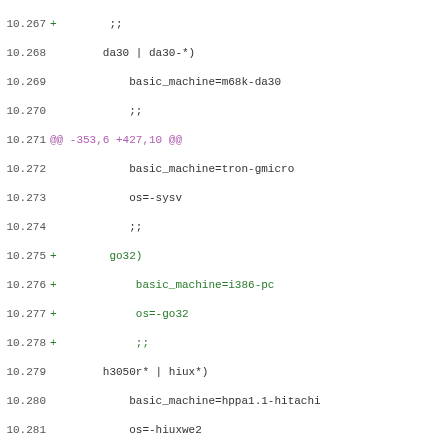Diff/patch code listing, lines 10.267–10.299, showing changes to a shell script (config.sub) with additions in green, deletions in red, and hunk headers in purple.